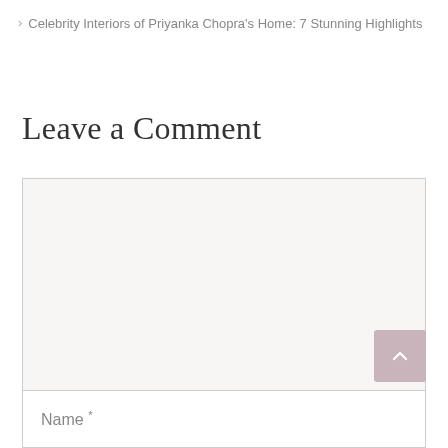> Celebrity Interiors of Priyanka Chopra's Home: 7 Stunning Highlights
Leave a Comment
[Figure (other): Large comment text area input box with light gray background and border]
[Figure (other): Scroll to top button with upward chevron arrow, mauve/pink-purple color]
Name *